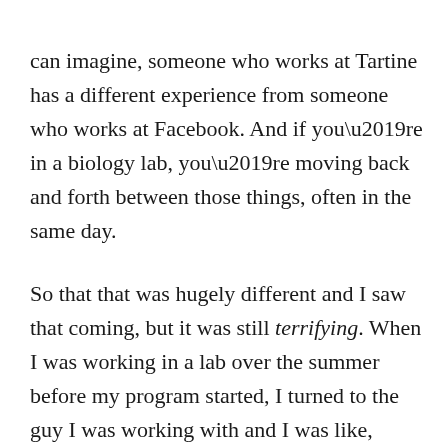can imagine, someone who works at Tartine has a different experience from someone who works at Facebook. And if you're in a biology lab, you're moving back and forth between those things, often in the same day.
So that that was hugely different and I saw that coming, but it was still terrifying. When I was working in a lab over the summer before my program started, I turned to the guy I was working with and I was like, “Here’s the deal: I do not know how to do any of this. I would love to learn about the science you’re doing and